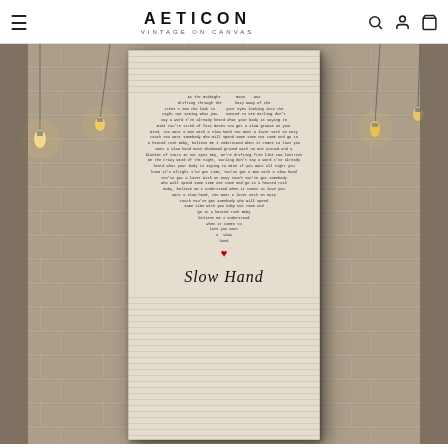AETICON VINTAGE ON CANVAS
[Figure (photo): Product photo of a canvas art print titled 'Slow Hand' featuring song lyrics arranged in a heart shape over sheet music background, displayed on a brick wall with Edison bulb string lights. The canvas shows the lyrics of 'Slow Hand' shaped into a heart with a small red heart at the bottom, and the song title in script lettering below.]